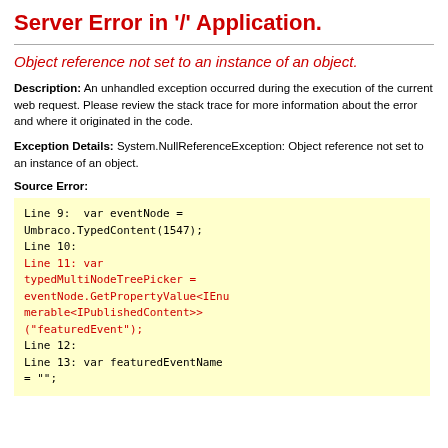Server Error in '/' Application.
Object reference not set to an instance of an object.
Description: An unhandled exception occurred during the execution of the current web request. Please review the stack trace for more information about the error and where it originated in the code.
Exception Details: System.NullReferenceException: Object reference not set to an instance of an object.
Source Error:
[Figure (screenshot): Code box with light yellow background showing source lines 9-13. Line 11 is highlighted in red: 'Line 11: var typedMultiNodeTreePicker = eventNode.GetPropertyValue<IEnumerable<IPublishedContent>>("featuredEvent");']